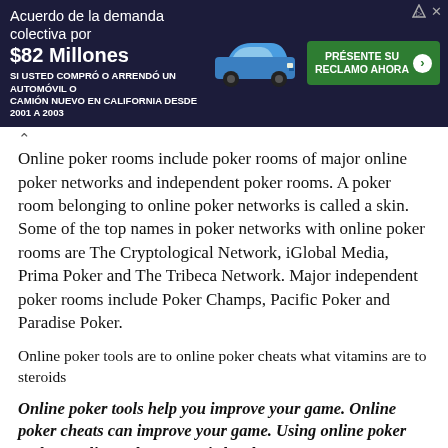[Figure (infographic): Spanish-language advertisement banner for a $82 million class action lawsuit settlement. Dark background with white text reading 'Acuerdo de la demanda colectiva por $82 Millones SI USTED COMPRÓ O ARRENDÓ UN AUTOMÓVIL O CAMIÓN NUEVO EN CALIFORNIA DESDE 2001 A 2003'. Has a blue car image and a green button reading 'PRÉSENTE SU RECLAMO AHORA'.]
Online poker rooms include poker rooms of major online poker networks and independent poker rooms. A poker room belonging to online poker networks is called a skin. Some of the top names in poker networks with online poker rooms are The Cryptological Network, iGlobal Media, Prima Poker and The Tribeca Network. Major independent poker rooms include Poker Champs, Pacific Poker and Paradise Poker.
Online poker tools are to online poker cheats what vitamins are to steroids
Online poker tools help you improve your game. Online poker cheats can improve your game. Using online poker tools at online poker rooms is legal.